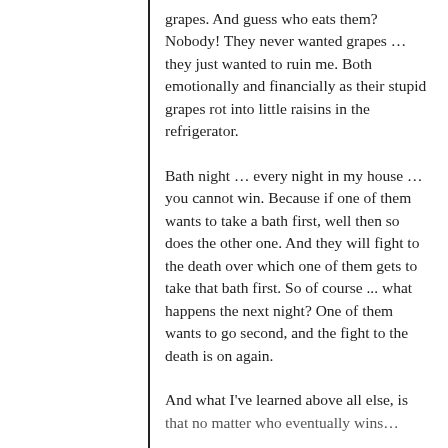grapes. And guess who eats them? Nobody! They never wanted grapes … they just wanted to ruin me. Both emotionally and financially as their stupid grapes rot into little raisins in the refrigerator.
Bath night … every night in my house … you cannot win. Because if one of them wants to take a bath first, well then so does the other one. And they will fight to the death over which one of them gets to take that bath first. So of course ... what happens the next night? One of them wants to go second, and the fight to the death is on again.
And what I've learned above all else, is that no matter who eventually wins…